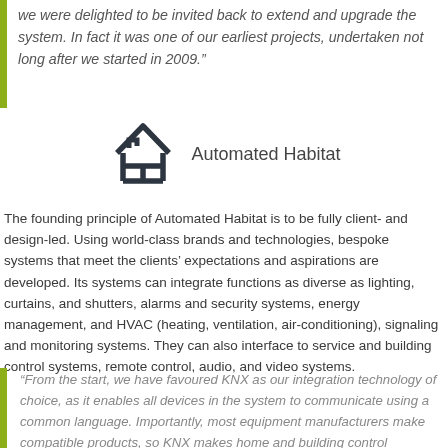we were delighted to be invited back to extend and upgrade the system. In fact it was one of our earliest projects, undertaken not long after we started in 2009.”
[Figure (logo): Automated Habitat logo: stylized house/arrow icon in dark grey with text 'Automated Habitat']
The founding principle of Automated Habitat is to be fully client- and design-led. Using world-class brands and technologies, bespoke systems that meet the clients’ expectations and aspirations are developed. Its systems can integrate functions as diverse as lighting, curtains, and shutters, alarms and security systems, energy management, and HVAC (heating, ventilation, air-conditioning), signaling and monitoring systems. They can also interface to service and building control systems, remote control, audio, and video systems.
“From the start, we have favoured KNX as our integration technology of choice, as it enables all devices in the system to communicate using a common language. Importantly, most equipment manufacturers make compatible products, so KNX makes home and building control installation easy, while being